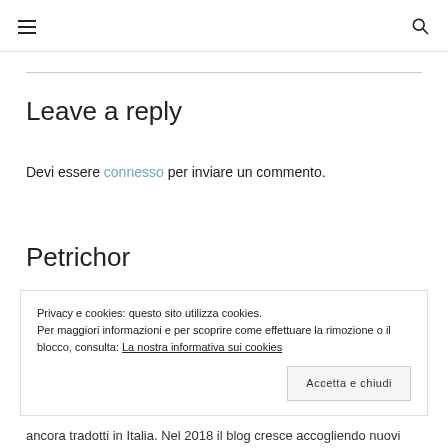☰ [hamburger menu] [search icon]
Leave a reply
Devi essere connesso per inviare un commento.
Petrichor
Privacy e cookies: questo sito utilizza cookies.
Per maggiori informazioni e per scoprire come effettuare la rimozione o il blocco, consulta: La nostra informativa sui cookies
[Accetta e chiudi button]
ancora tradotti in Italia. Nel 2018 il blog cresce accogliendo nuovi